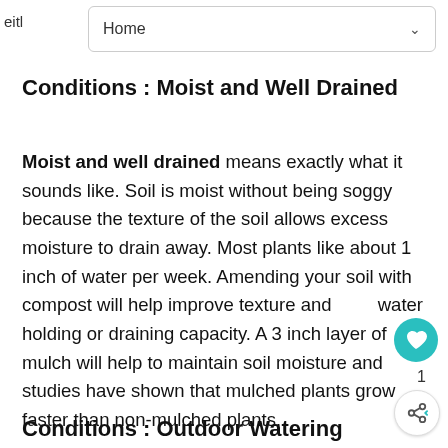Home
Conditions : Moist and Well Drained
Moist and well drained means exactly what it sounds like. Soil is moist without being soggy because the texture of the soil allows excess moisture to drain away. Most plants like about 1 inch of water per week. Amending your soil with compost will help improve texture and water holding or draining capacity. A 3 inch layer of mulch will help to maintain soil moisture and studies have shown that mulched plants grow faster than non-mulched plants.
Conditions : Outdoor Watering